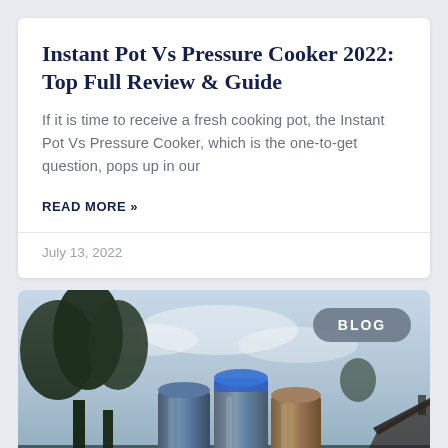Instant Pot Vs Pressure Cooker 2022: Top Full Review & Guide
If it is time to receive a fresh cooking pot, the Instant Pot Vs Pressure Cooker, which is the one-to-get question, pops up in our
READ MORE »
July 13, 2022
[Figure (photo): Photo of three metallic tumblers (one with blue band) set outdoors against a cloudy sky with tree silhouettes and rooftop in background. A 'BLOG' badge appears in upper right of image.]